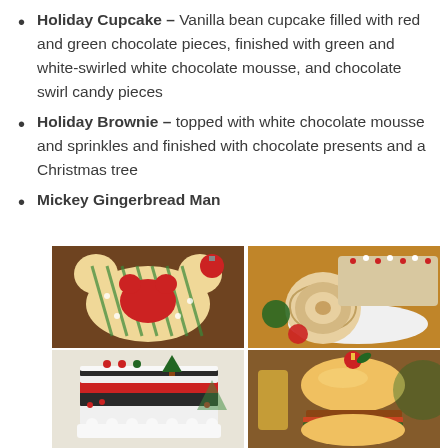Holiday Cupcake – Vanilla bean cupcake filled with red and green chocolate pieces, finished with green and white-swirled white chocolate mousse, and chocolate swirl candy pieces
Holiday Brownie – topped with white chocolate mousse and sprinkles and finished with chocolate presents and a Christmas tree
Mickey Gingerbread Man
[Figure (photo): Four holiday food photos: top-left shows Mickey-shaped gingerbread/sugar cookie with red Mickey head cutout and green stripe design; top-right shows a Yule log roll cake with red and white sprinkles on a white plate with ornaments; bottom-left shows a layered holiday cake decorated with Christmas trees and red/green decorations; bottom-right shows a holiday hamburger/slider topped with a red cherry ornament]